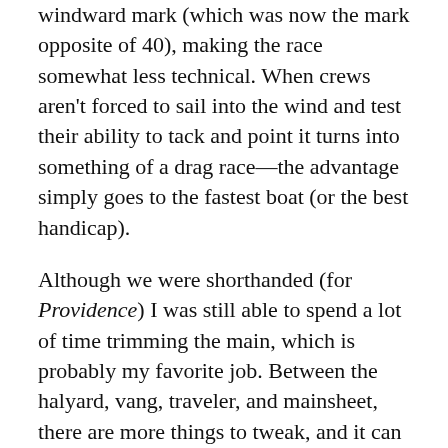windward mark (which was now the mark opposite of 40), making the race somewhat less technical. When crews aren't forced to sail into the wind and test their ability to tack and point it turns into something of a drag race—the advantage simply goes to the fastest boat (or the best handicap).
Although we were shorthanded (for Providence) I was still able to spend a lot of time trimming the main, which is probably my favorite job. Between the halyard, vang, traveler, and mainsheet, there are more things to tweak, and it can be a beautiful thing when it's all working, like when you come around a mark and you leave the traveler down, bringing it up slowly as the boat accelerates and the apparent wind moves forward, keeping the sail filled without being choked at any point. This probably doesn't translate well to the written word, but when you do it right, it just looks so